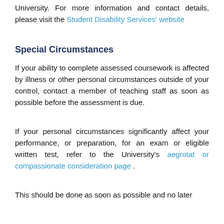University. For more information and contact details, please visit the Student Disability Services' website
Special Circumstances
If your ability to complete assessed coursework is affected by illness or other personal circumstances outside of your control, contact a member of teaching staff as soon as possible before the assessment is due.
If your personal circumstances significantly affect your performance, or preparation, for an exam or eligible written test, refer to the University's aegrotat or compassionate consideration page .
This should be done as soon as possible and no later